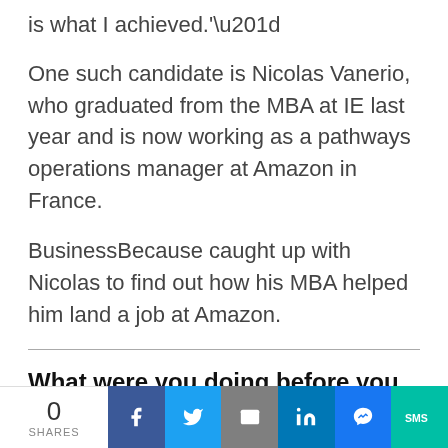is what I achieved.'”
One such candidate is Nicolas Vanerio, who graduated from the MBA at IE last year and is now working as a pathways operations manager at Amazon in France.
BusinessBecause caught up with Nicolas to find out how his MBA helped him land a job at Amazon.
What were you doing before you started your MBA?
0 SHARES | Facebook | Twitter | Email | LinkedIn | Messenger | SMS